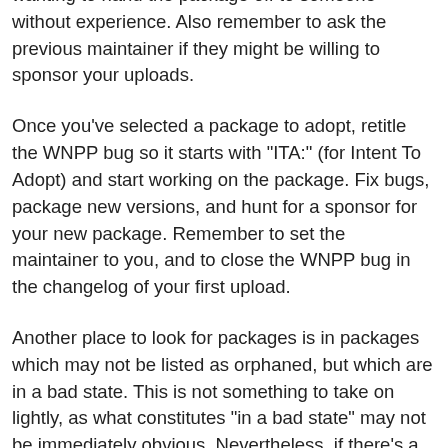wanting to hand the package off to someone without experience. Also remember to ask the previous maintainer if they might be willing to sponsor your uploads.
Once you've selected a package to adopt, retitle the WNPP bug so it starts with "ITA:" (for Intent To Adopt) and start working on the package. Fix bugs, package new versions, and hunt for a sponsor for your new package. Remember to set the maintainer to you, and to close the WNPP bug in the changelog of your first upload.
Another place to look for packages is in packages which may not be listed as orphaned, but which are in a bad state. This is not something to take on lightly, as what constitutes "in a bad state" may not be immediately obvious. Nevertheless, if there's a program you use which you think is looking a bit